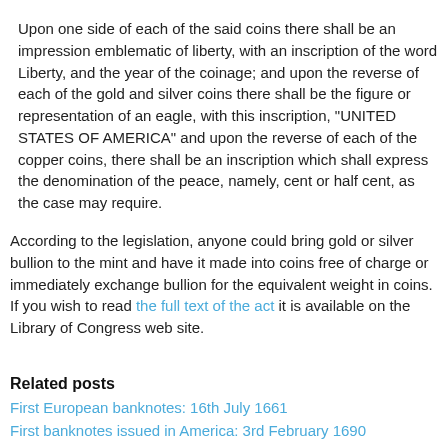Upon one side of each of the said coins there shall be an impression emblematic of liberty, with an inscription of the word Liberty, and the year of the coinage; and upon the reverse of each of the gold and silver coins there shall be the figure or representation of an eagle, with this inscription, "UNITED STATES OF AMERICA" and upon the reverse of each of the copper coins, there shall be an inscription which shall express the denomination of the peace, namely, cent or half cent, as the case may require.
According to the legislation, anyone could bring gold or silver bullion to the mint and have it made into coins free of charge or immediately exchange bullion for the equivalent weight in coins. If you wish to read the full text of the act it is available on the Library of Congress web site.
Related posts
First European banknotes: 16th July 1661
First banknotes issued in America: 3rd February 1690